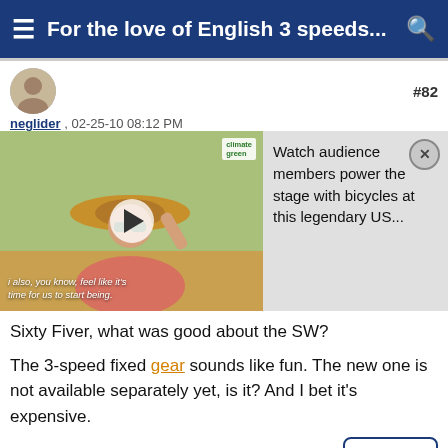For the love of English 3 speeds...
neglider , 02-25-10 08:12 PM #82
[Figure (screenshot): Video thumbnail of woman in sunhat at outdoor event, with overlay ad: 'Watch audience members power the stage with bicycles at this legendary US...' and a close button]
Sixty Fiver, what was good about the SW?

The 3-speed fixed gear sounds like fun. The new one is not available separately yet, is it? And I bet it's expensive.
Reply
old's'cool , 02-25-10 08:39 PM #83
curmudginger